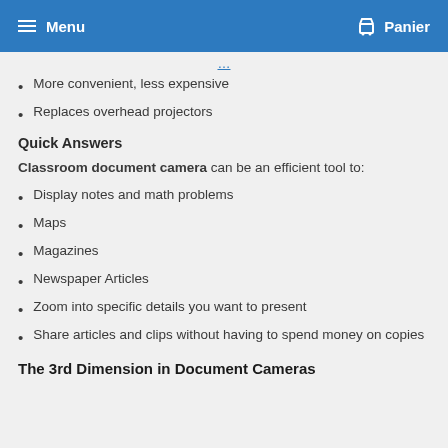Menu  Panier
More convenient, less expensive
Replaces overhead projectors
Quick Answers
Classroom document camera can be an efficient tool to:
Display notes and math problems
Maps
Magazines
Newspaper Articles
Zoom into specific details you want to present
Share articles and clips without having to spend money on copies
The 3rd Dimension in Document Cameras